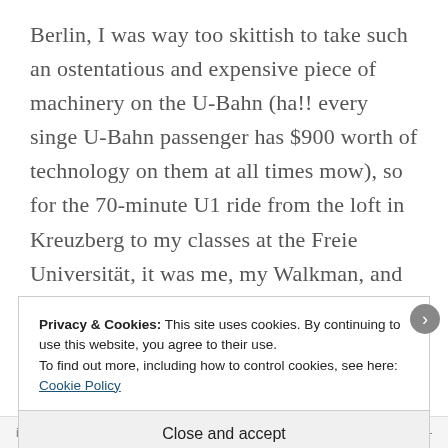Berlin, I was way too skittish to take such an ostentatious and expensive piece of machinery on the U-Bahn (ha!! every singe U-Bahn passenger has $900 worth of technology on them at all times mow), so for the 70-minute U1 ride from the loft in Kreuzberg to my classes at the Freie Universität, it was me, my Walkman, and the select few mix tapes I made before I left. My
Privacy & Cookies: This site uses cookies. By continuing to use this website, you agree to their use.
To find out more, including how to control cookies, see here: Cookie Policy
Close and accept
in less than a week